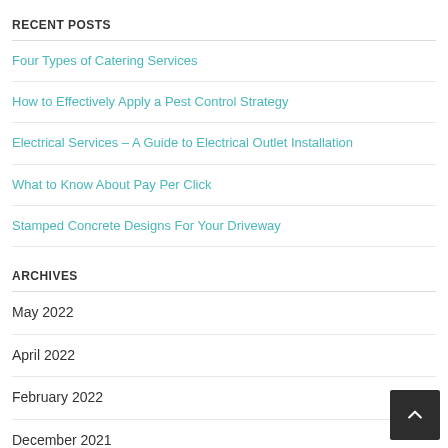RECENT POSTS
Four Types of Catering Services
How to Effectively Apply a Pest Control Strategy
Electrical Services – A Guide to Electrical Outlet Installation
What to Know About Pay Per Click
Stamped Concrete Designs For Your Driveway
ARCHIVES
May 2022
April 2022
February 2022
December 2021
September 2021